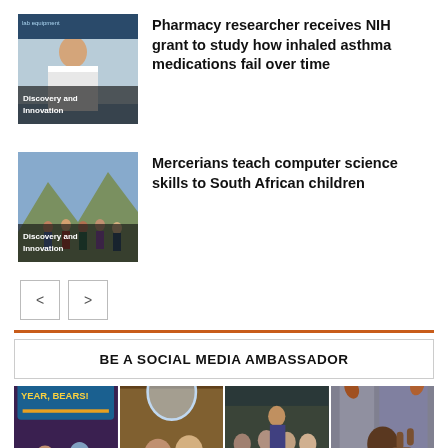[Figure (photo): Pharmacy researcher in white coat with 'Discovery and Innovation' label overlay]
Pharmacy researcher receives NIH grant to study how inhaled asthma medications fail over time
[Figure (photo): Group of students outdoors with mountain background, 'Discovery and Innovation' label overlay]
Mercerians teach computer science skills to South African children
< >
BE A SOCIAL MEDIA AMBASSADOR
[Figure (photo): Grid of four social media photos including Bears! marquee, students with coffee, group outdoors, and student with peace sign. Bottom text: TAP TO APPLY]